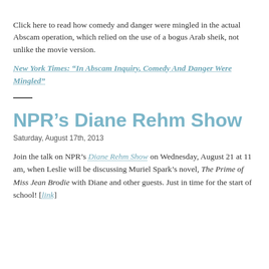Click here to read how comedy and danger were mingled in the actual Abscam operation, which relied on the use of a bogus Arab sheik, not unlike the movie version.
New York Times: “In Abscam Inquiry, Comedy And Danger Were Mingled”
NPR’s Diane Rehm Show
Saturday, August 17th, 2013
Join the talk on NPR’s Diane Rehm Show on Wednesday, August 21 at 11 am, when Leslie will be discussing Muriel Spark’s novel, The Prime of Miss Jean Brodie with Diane and other guests. Just in time for the start of school! [link]